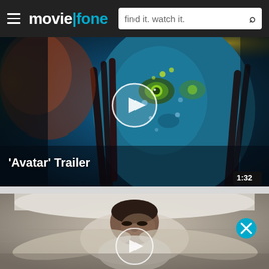moviefone — find it. watch it.
[Figure (screenshot): Video thumbnail for 'Avatar' Trailer showing a Na'vi character with blue skin and braids, with a play button overlay. Duration badge shows 1:32.]
'Avatar' Trailer
[Figure (screenshot): Video thumbnail for a second clip showing a man lying in bed looking upward, with a play button overlay and a close (X) button.]